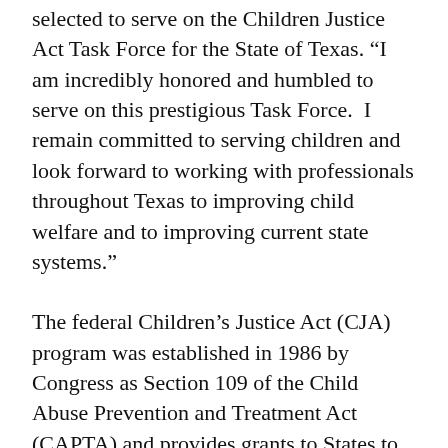selected to serve on the Children Justice Act Task Force for the State of Texas. “I am incredibly honored and humbled to serve on this prestigious Task Force. I remain committed to serving children and look forward to working with professionals throughout Texas to improving child welfare and to improving current state systems.”
The federal Children’s Justice Act (CJA) program was established in 1986 by Congress as Section 109 of the Child Abuse Prevention and Treatment Act (CAPTA) and provides grants to States to improve the investigation, prosecution, and judicial handling of cases of child abuse and neglect, including cases involving child sexual abuse and exploitation, suspected child maltreatment fatalities, and cases involving children with disabilities or serious health-related problems who are the victims of abuse or